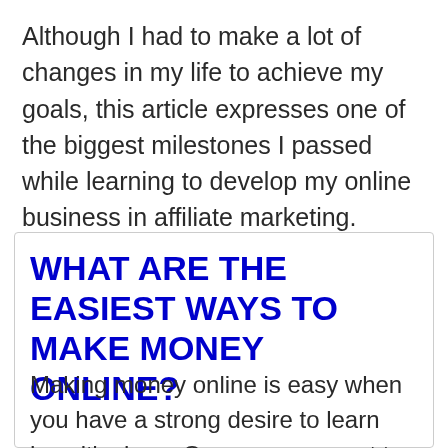Although I had to make a lot of changes in my life to achieve my goals, this article expresses one of the biggest milestones I passed while learning to develop my online business in affiliate marketing.
WHAT ARE THE EASIEST WAYS TO MAKE MONEY ONLINE?
Making money online is easy when you have a strong desire to learn how it's done. Once you connect to the fire inside of you